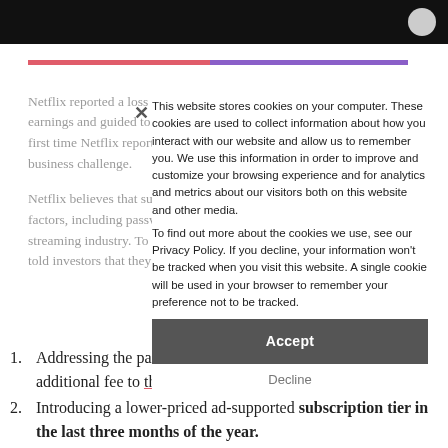[Netflix website header - black bar with logo]
Netflix reported a loss of a whopping 200,000 subscribers in Q1 2022 earnings and guided to lose another 2 million in Q2 2022. This was the first time Netflix reported subscriber loss in a decade and thus a huge business challenge.
Netflix believes that subscriber losses can be attributed to various factors, including password sharing and increased competition in the streaming industry. To capture lost subscribers and revenue, Netflix told investors that they would take two significant ac
This website stores cookies on your computer. These cookies are used to collect information about how you interact with our website and allow us to remember you. We use this information in order to improve and customize your browsing experience and for analytics and metrics about our visitors both on this website and other media. To find out more about the cookies we use, see our Privacy Policy. If you decline, your information won't be tracked when you visit this website. A single cookie will be used in your browser to remember your preference not to be tracked.
Accept
Decline
Addressing the password sharing issue by adding an additional fee to those who want to share accounts.
Introducing a lower-priced ad-supported subscription tier in the last three months of the year.